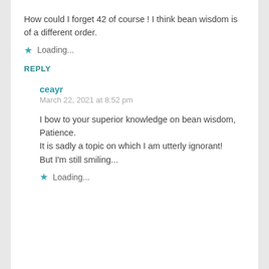How could I forget 42 of course ! I think bean wisdom is of a different order.
★ Loading...
REPLY
ceayr
March 22, 2021 at 8:52 pm
I bow to your superior knowledge on bean wisdom, Patience.
It is sadly a topic on which I am utterly ignorant!
But I'm still smiling...
★ Loading...